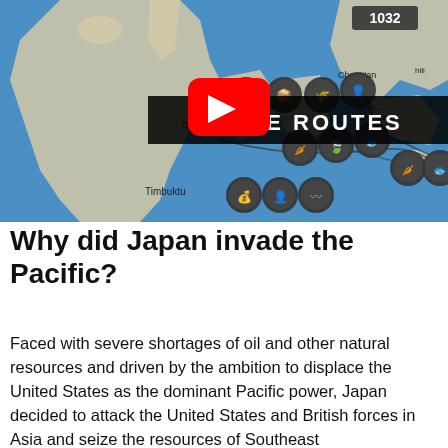[Figure (screenshot): A video thumbnail showing a world map (Civilization-style game) with trade route icons and city names including Timbuktu, Constantinople, Chang'an, and Guangzhou. A large red YouTube play button overlays the center, with a black title bar reading 'TRADE ROUTES'. A counter box showing '1032' appears in the upper right.]
Why did Japan invade the Pacific?
Faced with severe shortages of oil and other natural resources and driven by the ambition to displace the United States as the dominant Pacific power, Japan decided to attack the United States and British forces in Asia and seize the resources of Southeast